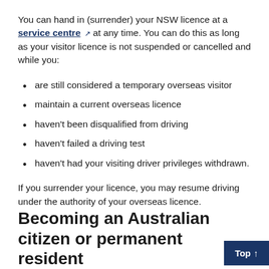You can hand in (surrender) your NSW licence at a service centre at any time. You can do this as long as your visitor licence is not suspended or cancelled and while you:
are still considered a temporary overseas visitor
maintain a current overseas licence
haven't been disqualified from driving
haven't failed a driving test
haven't had your visiting driver privileges withdrawn.
If you surrender your licence, you may resume driving under the authority of your overseas licence.
Becoming an Australian citizen or permanent resident